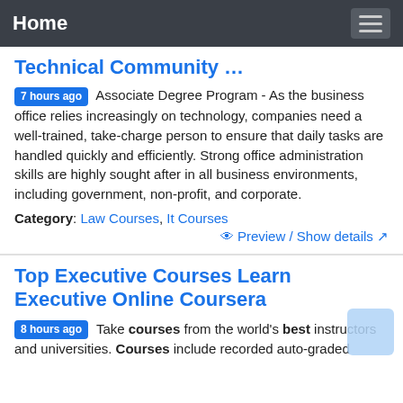Home
Technical Community …
7 hours ago  Associate Degree Program - As the business office relies increasingly on technology, companies need a well-trained, take-charge person to ensure that daily tasks are handled quickly and efficiently. Strong office administration skills are highly sought after in all business environments, including government, non-profit, and corporate.
Category: Law Courses, It Courses
Preview / Show details
Top Executive Courses Learn Executive Online Coursera
8 hours ago  Take courses from the world's best instructors and universities. Courses include recorded auto-graded